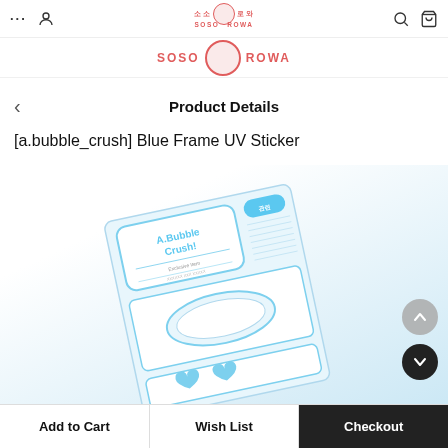... [user icon] SOSO ROWA [search] [cart]
[Figure (logo): SOSO ROWA brand banner with Korean characters and circular logo illustration]
Product Details
[a.bubble_crush] Blue Frame UV Sticker
[Figure (photo): A.Bubble Crush! Blue Frame UV Sticker sheet showing blue-framed oval and heart-shaped stickers on a light blue gradient background]
Add to Cart | Wish List | Checkout